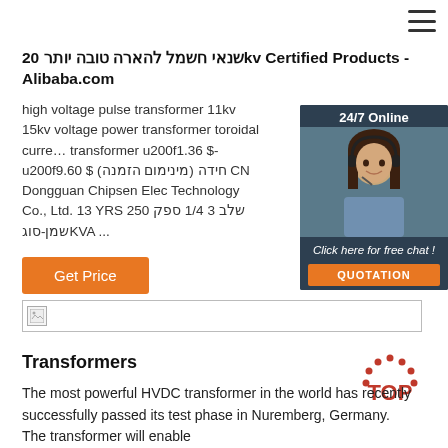[Figure (other): Hamburger menu icon (three horizontal lines) in top right corner]
שנאי חשמל להארה טובה יותר 20kv Certified Products - Alibaba.com
high voltage pulse transformer 11kv 15kv voltage power transformer toroidal current transformer ‎u200f1.36 $-u200f9.60 $ חידה (מינימום הזמנה) CN Dongguan Chipsen Electronic Technology Co., Ltd. 13 YRS שלב 3 1/4 ספק‎ שמן-סוג 250 KVA ...
[Figure (photo): Chat widget with woman wearing headset, 24/7 Online label, 'Click here for free chat!' text, and orange QUOTATION button on dark blue background]
[Figure (other): Broken image placeholder (small icon with border)]
[Figure (logo): TOP logo with dotted arc and red text]
Transformers
The most powerful HVDC transformer in the world has recently successfully passed its test phase in Nuremberg, Germany. The transformer will enable